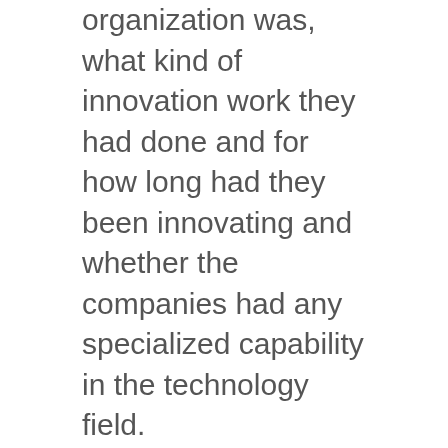organization was, what kind of innovation work they had done and for how long had they been innovating and whether the companies had any specialized capability in the technology field.
We were among the 12 companies shortlisted.
The project we were selected for involved building the technological system for a military hospital in Rwanda, as we had carried out similar work for several other companies in the healthcare domain.
Being a company that loves innovation, it was an excellent project for Akrity.
We were invited to propose a technological solution for the hospital in Rwanda. So, we went for a field study stage where we...